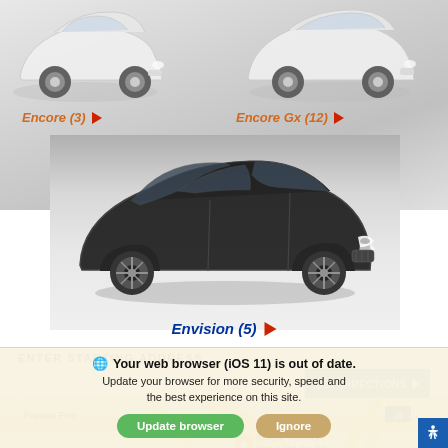[Figure (photo): White Buick Encore SUV (partial top view), positioned top-left of the page]
Encore (3) ▶
[Figure (photo): White Buick Encore GX SUV (partial top view), positioned top-right of the page]
Encore Gx (12) ▶
[Figure (photo): Black Buick Envision SUV in center of page]
Envision (5) ▶
ENTER STARTING ADDRESS
[Figure (screenshot): Map showing Papago Fwy and Interstate 10, with Rudy's Country Store and Bar BQ pin]
Your web browser (iOS 11) is out of date. Update your browser for more security, speed and the best experience on this site.
Update browser
Ignore